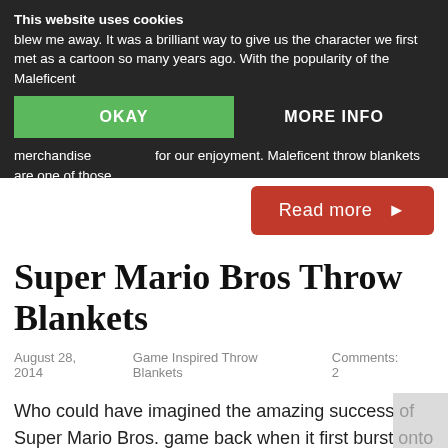This website uses cookies
blew me away. It was a brilliant way to give us the character we first met as a cartoon so many years ago. With the popularity of the Maleficent merchandise for our enjoyment. Maleficent throw blankets are one of those …
OKAY    MORE INFO
Read more ▶
Super Mario Bros Throw Blankets
August 28, 2014    Game Inspired Throw Blankets    Comments: 2
Who could have imagined the amazing success of Super Mario Bros. game back when it first burst onto the scene? The passage of time does nothing to diminish the popularity of this video game. Needless